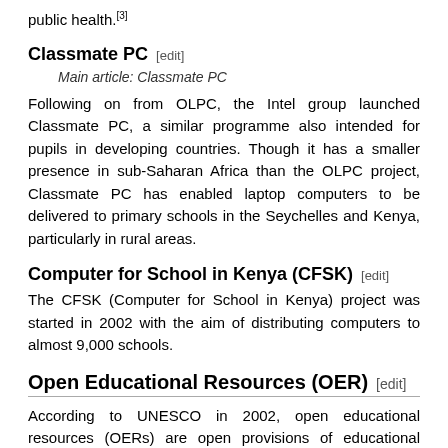public health.[3]
Classmate PC [edit]
Main article: Classmate PC
Following on from OLPC, the Intel group launched Classmate PC, a similar programme also intended for pupils in developing countries. Though it has a smaller presence in sub-Saharan Africa than the OLPC project, Classmate PC has enabled laptop computers to be delivered to primary schools in the Seychelles and Kenya, particularly in rural areas.
Computer for School in Kenya (CFSK) [edit]
The CFSK (Computer for School in Kenya) project was started in 2002 with the aim of distributing computers to almost 9,000 schools.
Open Educational Resources (OER) [edit]
According to UNESCO in 2002, open educational resources (OERs) are open provisions of educational resources that are enabled by ICTs for use and